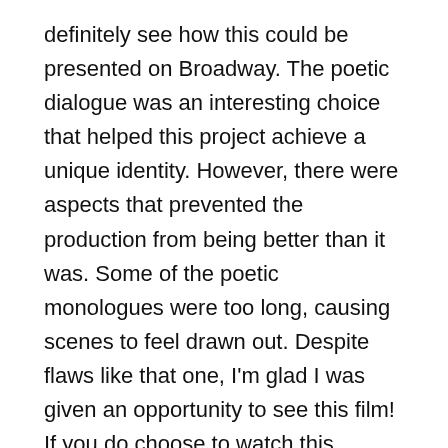definitely see how this could be presented on Broadway. The poetic dialogue was an interesting choice that helped this project achieve a unique identity. However, there were aspects that prevented the production from being better than it was. Some of the poetic monologues were too long, causing scenes to feel drawn out. Despite flaws like that one, I'm glad I was given an opportunity to see this film! If you do choose to watch this version of Cyrano de Bergerac, keep in mind it is a rarer title to find on physical media. While this movie did receive a Blu-Ray release, prices can get expensive.
Overall score: 7.6 out of 10